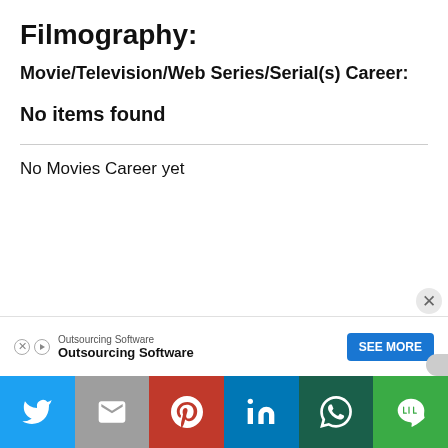Filmography:
Movie/Television/Web Series/Serial(s) Career:
No items found
No Movies Career yet